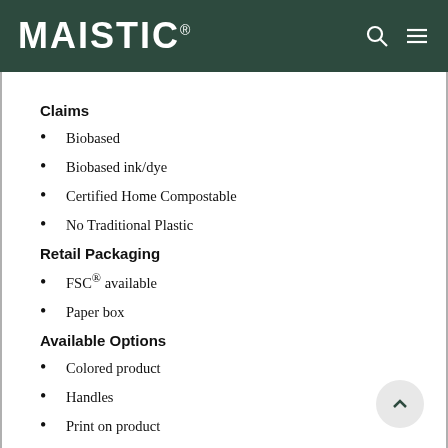MAISTIC
Claims
Biobased
Biobased ink/dye
Certified Home Compostable
No Traditional Plastic
Retail Packaging
FSC® available
Paper box
Available Options
Colored product
Handles
Print on product
Si… (continues)